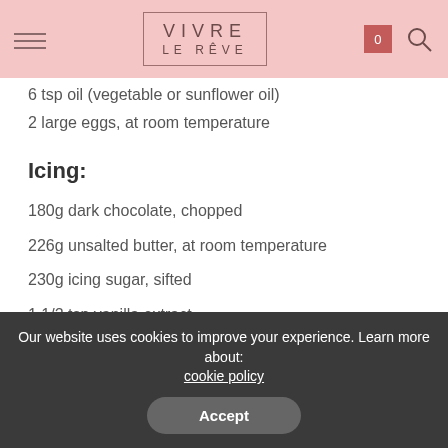VIVRE LE RÊVE
6 tsp oil (vegetable or sunflower oil)
2 large eggs, at room temperature
Icing:
180g dark chocolate, chopped
226g unsalted butter, at room temperature
230g icing sugar, sifted
1 1/2 tsp vanilla extract
Method
Preheat your oven to 180°C. Butter, two 8 inch cake cases. Then
Our website uses cookies to improve your experience. Learn more about: cookie policy
Accept